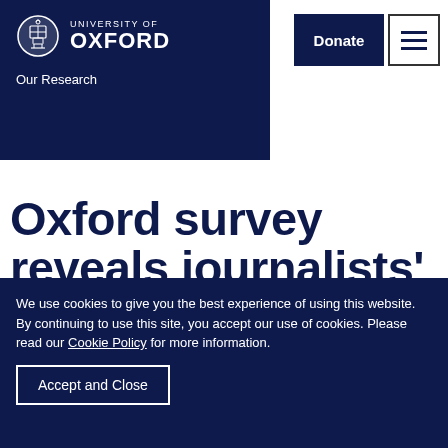University of Oxford — Our Research
Oxford survey reveals journalists' views on ethics, pay, PR and
We use cookies to give you the best experience of using this website. By continuing to use this site, you accept our use of cookies. Please read our Cookie Policy for more information.
Accept and Close